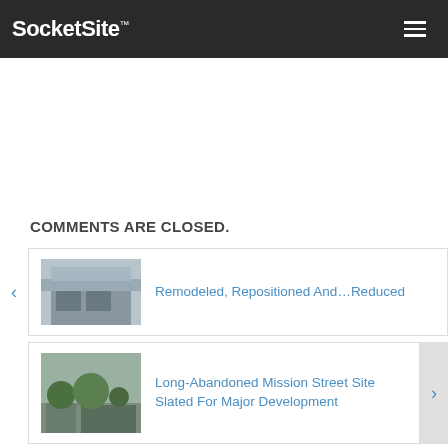SocketSite™
COMMENTS ARE CLOSED.
[Figure (photo): Thumbnail photo of a remodeled building exterior]
Remodeled, Repositioned And…Reduced
[Figure (photo): Thumbnail photo of an abandoned Mission Street site with trees]
Long-Abandoned Mission Street Site Slated For Major Development